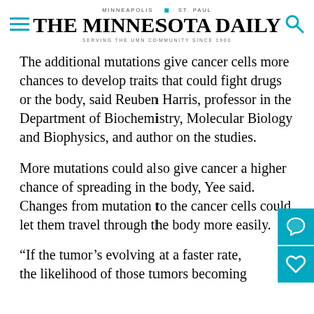MINNEAPOLIS | ST. PAUL
THE MINNESOTA DAILY
SERVING THE UMN COMMUNITY SINCE 1900
The additional mutations give cancer cells more chances to develop traits that could fight drugs or the body, said Reuben Harris, professor in the Department of Biochemistry, Molecular Biology and Biophysics, and author on the studies.
More mutations could also give cancer a higher chance of spreading in the body, Yee said. Changes from mutation to the cancer cells could let them travel through the body more easily.
“If the tumor’s evolving at a faster rate, the likelihood of those tumors becoming resistant to whatever drug we throw at [it] will be much higher,” Harris said.